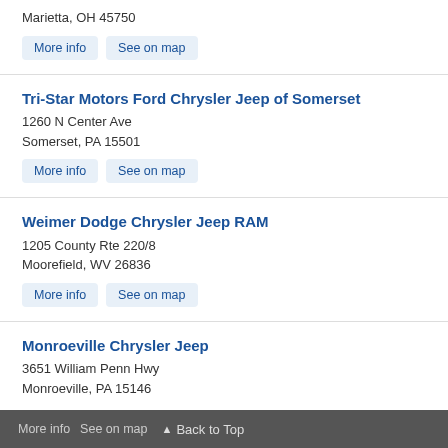Marietta, OH 45750
More info | See on map
Tri-Star Motors Ford Chrysler Jeep of Somerset
1260 N Center Ave
Somerset, PA 15501
More info | See on map
Weimer Dodge Chrysler Jeep RAM
1205 County Rte 220/8
Moorefield, WV 26836
More info | See on map
Monroeville Chrysler Jeep
3651 William Penn Hwy
Monroeville, PA 15146
More info  See on map  ▲ Back to Top